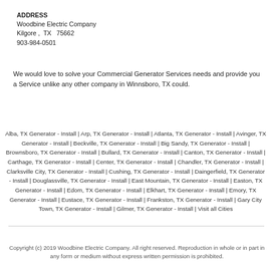ADDRESS
Woodbine Electric Company
Kilgore ,  TX   75662
903-984-0501
We would love to solve your Commercial Generator Services needs and provide you a Service unlike any other company in Winnsboro, TX could.
Alba, TX Generator - Install | Arp, TX Generator - Install | Atlanta, TX Generator - Install | Avinger, TX Generator - Install | Beckville, TX Generator - Install | Big Sandy, TX Generator - Install | Brownsboro, TX Generator - Install | Bullard, TX Generator - Install | Canton, TX Generator - Install | Carthage, TX Generator - Install | Center, TX Generator - Install | Chandler, TX Generator - Install | Clarksville City, TX Generator - Install | Cushing, TX Generator - Install | Daingerfield, TX Generator - Install | Douglassville, TX Generator - Install | East Mountain, TX Generator - Install | Easton, TX Generator - Install | Edom, TX Generator - Install | Elkhart, TX Generator - Install | Emory, TX Generator - Install | Eustace, TX Generator - Install | Frankston, TX Generator - Install | Gary City Town, TX Generator - Install | Gilmer, TX Generator - Install | Visit all Cities
Copyright (c) 2019 Woodbine Electric Company. All right reserved. Reproduction in whole or in part in any form or medium without express written permission is prohibited.